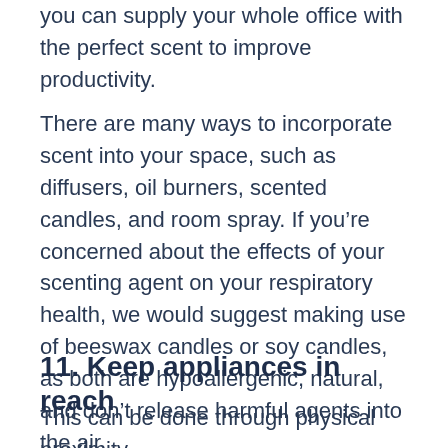you can supply your whole office with the perfect scent to improve productivity.
There are many ways to incorporate scent into your space, such as diffusers, oil burners, scented candles, and room spray. If you’re concerned about the effects of your scenting agent on your respiratory health, we would suggest making use of beeswax candles or soy candles, as both are hypoallergenic, natural, and don’t release harmful agents into the air.
11. Keep appliances in reach
This can be done through physical proximity